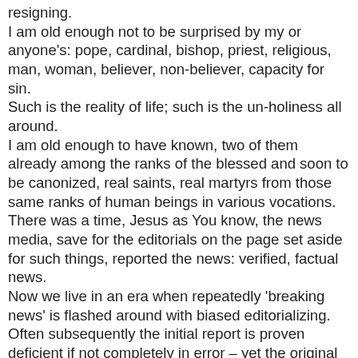resigning. I am old enough not to be surprised by my or anyone's: pope, cardinal, bishop, priest, religious, man, woman, believer, non-believer, capacity for sin. Such is the reality of life; such is the un-holiness all around. I am old enough to have known, two of them already among the ranks of the blessed and soon to be canonized, real saints, real martyrs from those same ranks of human beings in various vocations. There was a time, Jesus as You know, the news media, save for the editorials on the page set aside for such things, reported the news: verified, factual news. Now we live in an era when repeatedly 'breaking news' is flashed around with biased editorializing. Often subsequently the initial report is proven deficient if not completely in error – yet the original almost instantaneously becomes imbedded in the minds of the majority of people as irrefutable fact. Why Jesus have You allowed so much, to borrow from Pope Paul VI, of the smoke of satan to invade the Church, why do You allow via the media in particular, this war which is doing so much damage to the faith of ordinary people, this war of mockery and innuendo, this media war reducing the conclave to a political horserace?